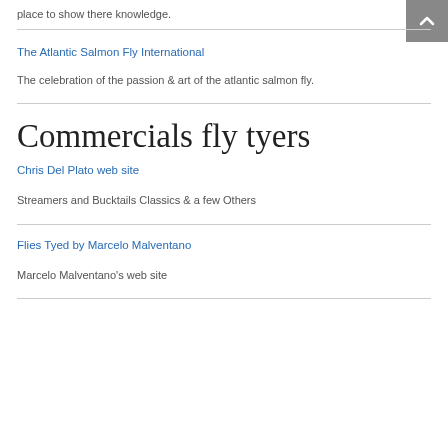place to show there knowledge.
The Atlantic Salmon Fly International
The celebration of the passion & art of the atlantic salmon fly.
Commercials fly tyers
Chris Del Plato web site
Streamers and Bucktails Classics & a few Others
Flies Tyed by Marcelo Malventano
Marcelo Malventano's web site